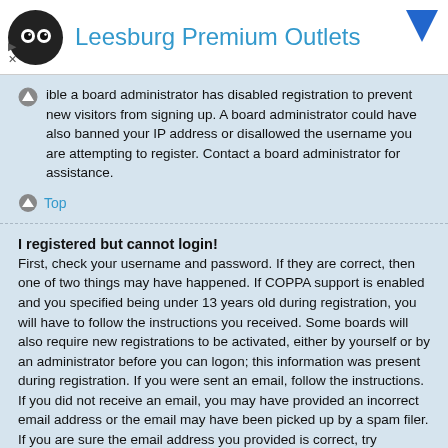[Figure (logo): Leesburg Premium Outlets ad banner with logo and blue arrow icon]
ible a board administrator has disabled registration to prevent new visitors from signing up. A board administrator could have also banned your IP address or disallowed the username you are attempting to register. Contact a board administrator for assistance.
Top
I registered but cannot login!
First, check your username and password. If they are correct, then one of two things may have happened. If COPPA support is enabled and you specified being under 13 years old during registration, you will have to follow the instructions you received. Some boards will also require new registrations to be activated, either by yourself or by an administrator before you can logon; this information was present during registration. If you were sent an email, follow the instructions. If you did not receive an email, you may have provided an incorrect email address or the email may have been picked up by a spam filer. If you are sure the email address you provided is correct, try contacting an administrator.
Top
Why can't I login?
There are several reasons why this could occur. First, ensure your username and password are correct. If they are, contact a board administrator to make